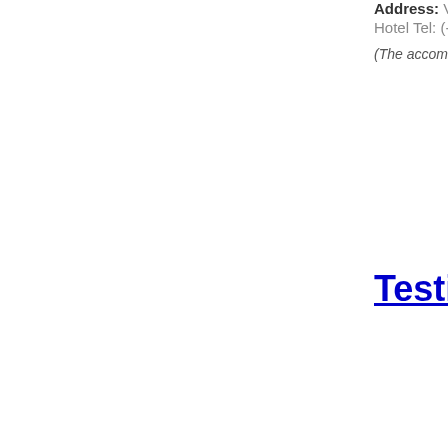Address: Via...
Hotel Tel: (+3...
(The accommo...
Testimo...